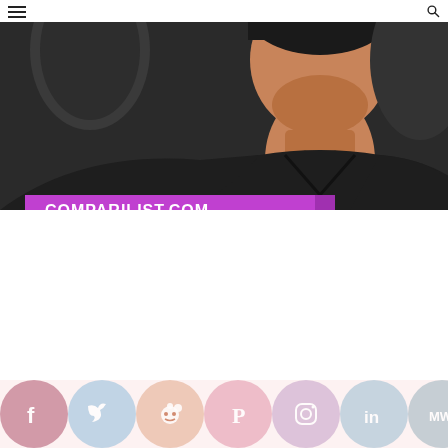comparilist.com website header with hamburger menu and search icon
[Figure (illustration): Illustrated portrait of a person wearing a black v-neck shirt against a dark background, with the comparilist.com logo banner in the lower-left corner of the image]
[Figure (infographic): Social media sharing icons row at the bottom: Facebook, Twitter, Reddit, Pinterest, Instagram, LinkedIn, MW, and one more icon, shown as circular colored buttons]